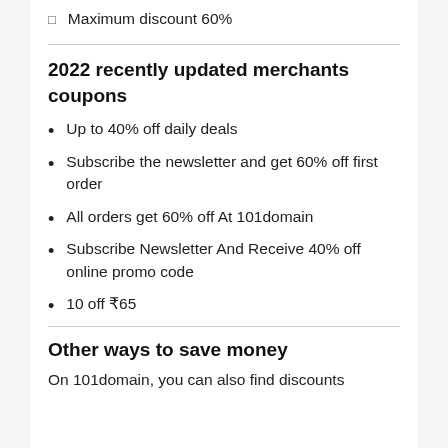Maximum discount 60%
2022 recently updated merchants coupons
Up to 40% off daily deals
Subscribe the newsletter and get 60% off first order
All orders get 60% off At 101domain
Subscribe Newsletter And Receive 40% off online promo code
10 off ₹65
Other ways to save money
On 101domain, you can also find discounts